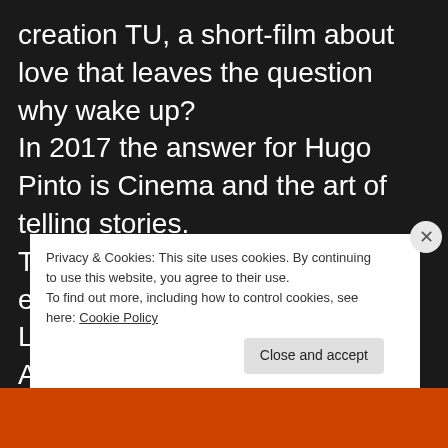creation TU, a short-film about love that leaves the question why wake up?
In 2017 the answer for Hugo Pinto is Cinema and the art of telling stories.
Tu in this short period of existence won the Shortcutz Lisboa April Best Short , the ARFF Barcelona Best trailer , Oficial selection for best Short ARRF Berlin 2018 ,Official Selection to the Short to the point Bucareste Romaine
Privacy & Cookies: This site uses cookies. By continuing to use this website, you agree to their use.
To find out more, including how to control cookies, see here: Cookie Policy
Close and accept